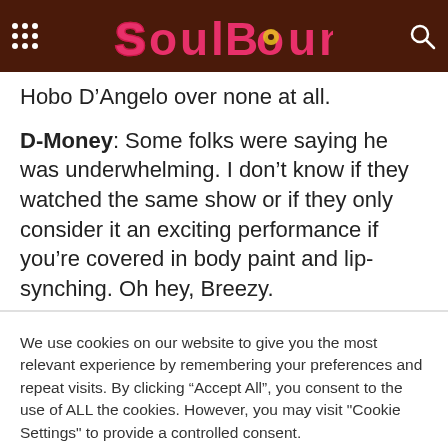SoulBounce
Hobo D’Angelo over none at all.
D-Money: Some folks were saying he was underwhelming. I don’t know if they watched the same show or if they only consider it an exciting performance if you’re covered in body paint and lip-synching. Oh hey, Breezy.
We use cookies on our website to give you the most relevant experience by remembering your preferences and repeat visits. By clicking “Accept All”, you consent to the use of ALL the cookies. However, you may visit "Cookie Settings" to provide a controlled consent.